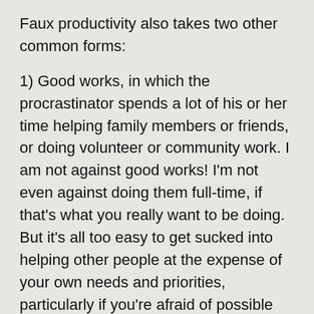Faux productivity also takes two other common forms:
1) Good works, in which the procrastinator spends a lot of his or her time helping family members or friends, or doing volunteer or community work. I am not against good works! I'm not even against doing them full-time, if that's what you really want to be doing. But it's all too easy to get sucked into helping other people at the expense of your own needs and priorities, particularly if you're afraid of possible outcomes. The solution is to budget and schedule your time so that you help other people AND take care of your own needs; and you will probably also have to learn, if you don't know it already, that essential time management skill, saying “no.”
And the other common form of faux productivity is… drumroll…
2) Housework. The way it works is often this: it's your scheduled time to work on your project. Suddenly, however, you feel an irresistible need to do the laundry,